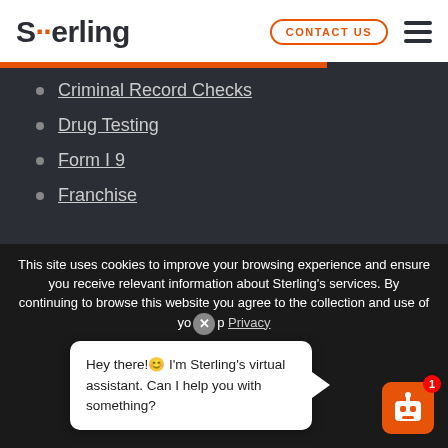Sterling — CONTACT US
Criminal Record Checks
Drug Testing
Form I 9
Franchise
This site uses cookies to improve your browsing experience and ensure you receive relevant information about Sterling's services. By continuing to browse this website you agree to the collection and use of your personal data. Privacy
Hey there! I'm Sterling's virtual assistant. Can I help you with something?